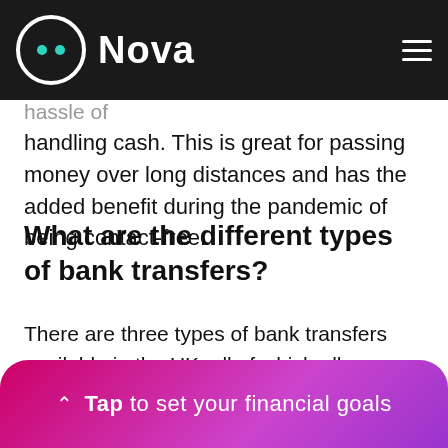Nova
between bank accounts, without the hassle of handling cash. This is great for passing money over long distances and has the added benefit during the pandemic of being contact-free.
What are the different types of bank transfers?
There are three types of bank transfers available in the UK, all of which allow you to transfer money: BACS, CHAPS and Faster payments. We have dedicated posts explaining the pros and cons of BACS and CHAPS payments, so if you fancy reading more check out those links but here's a quick run through.
BACS
^ Tap to set your financial goals